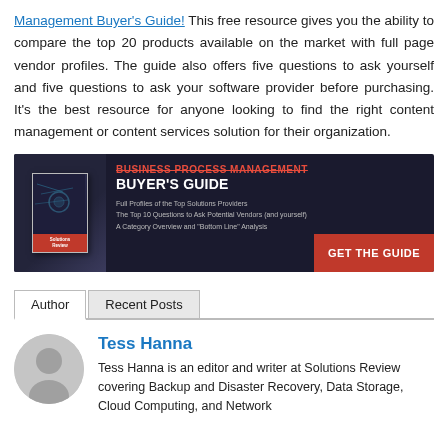Management Buyer's Guide! This free resource gives you the ability to compare the top 20 products available on the market with full page vendor profiles. The guide also offers five questions to ask yourself and five questions to ask your software provider before purchasing. It's the best resource for anyone looking to find the right content management or content services solution for their organization.
[Figure (other): Advertisement banner for Business Process Management Buyer's Guide. Dark background with book image on left, text including red title 'BUSINESS PROCESS MANAGEMENT', white subtitle 'BUYER'S GUIDE', bullet points, and red CTA button 'GET THE GUIDE'.]
Author   Recent Posts
Tess Hanna
Tess Hanna is an editor and writer at Solutions Review covering Backup and Disaster Recovery, Data Storage, Cloud Computing, and Network